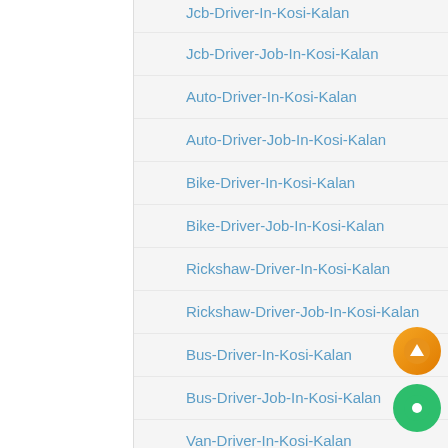Jcb-Driver-In-Kosi-Kalan
Jcb-Driver-Job-In-Kosi-Kalan
Auto-Driver-In-Kosi-Kalan
Auto-Driver-Job-In-Kosi-Kalan
Bike-Driver-In-Kosi-Kalan
Bike-Driver-Job-In-Kosi-Kalan
Rickshaw-Driver-In-Kosi-Kalan
Rickshaw-Driver-Job-In-Kosi-Kalan
Bus-Driver-In-Kosi-Kalan
Bus-Driver-Job-In-Kosi-Kalan
Van-Driver-In-Kosi-Kalan
Van-Driver-Job-In-Kosi-Kalan